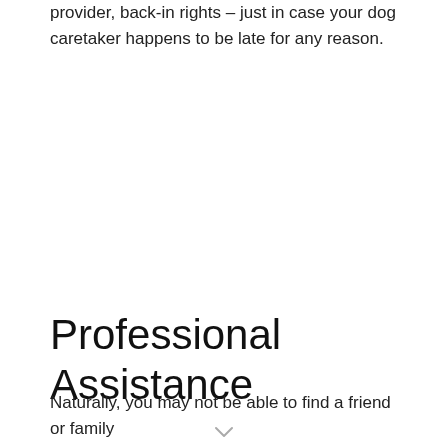provider, back-in rights – just in case your dog caretaker happens to be late for any reason.
Professional Assistance
Naturally, you may not be able to find a friend or family